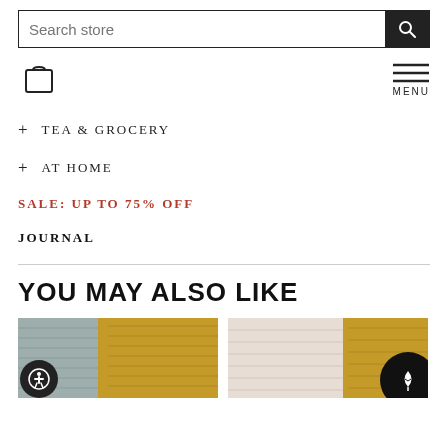Search store
+ TEA & GROCERY
+ AT HOME
SALE: UP TO 75% OFF
JOURNAL
YOU MAY ALSO LIKE
[Figure (photo): Two skeins of yarn, one gray-blue and one gold/mustard colored]
[Figure (photo): Two skeins of yarn, one cream/white and one gold/mustard colored]